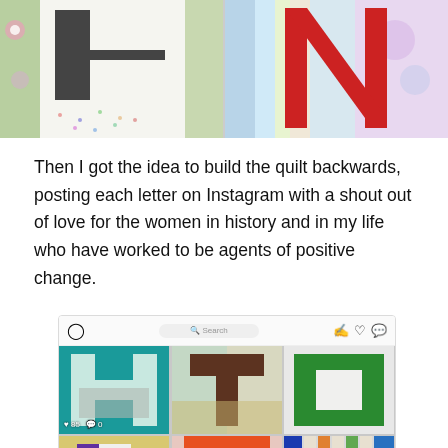[Figure (photo): Two quilt blocks side by side: left shows a dark gray letter shape on floral/dotted fabric, right shows a red letter N on striped pastel fabric]
Then I got the idea to build the quilt backwards, posting each letter on Instagram with a shout out of love for the women in history and in my life who have worked to be agents of positive change.
[Figure (screenshot): Instagram feed screenshot showing 6 quilt block photos in a grid: H (teal), T (brown/green), square (green), P (purple/yellow), U (orange/red), V (blue/striped). The H block shows 85 likes and 0 comments.]